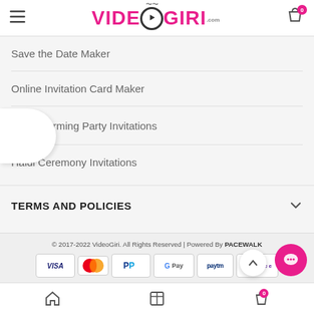VideoGiri.com
Save the Date Maker
Online Invitation Card Maker
Housewarming Party Invitations
Haldi Ceremony Invitations
TERMS AND POLICIES
© 2017-2022 VideoGiri. All Rights Reserved | Powered By PACEWALK